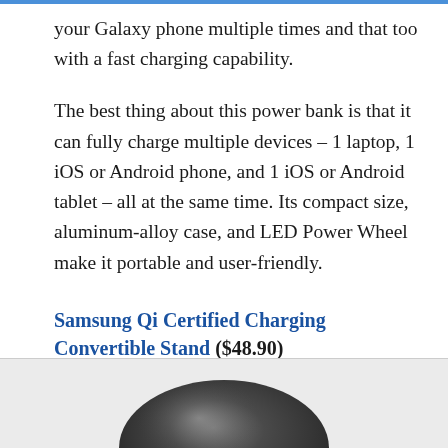your Galaxy phone multiple times and that too with a fast charging capability.
The best thing about this power bank is that it can fully charge multiple devices – 1 laptop, 1 iOS or Android phone, and 1 iOS or Android tablet – all at the same time. Its compact size, aluminum-alloy case, and LED Power Wheel make it portable and user-friendly.
Samsung Qi Certified Charging Convertible Stand ($48.90)
[Figure (photo): Partial view of a dark gray/black Samsung Qi Certified Charging Convertible Stand product, showing the top dome portion of the device against a light gray background.]